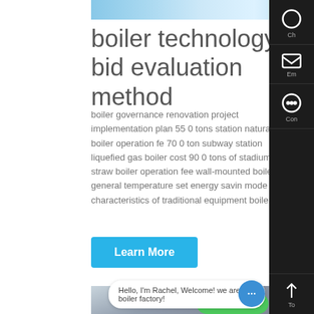[Figure (photo): Top banner image showing a blue industrial or exterior scene]
boiler technology bid evaluation method
boiler governance renovation project implementation plan 55 0 tons station natural gas boiler operation fe 70 0 ton subway station liquefied gas boiler cost 90 0 tons of stadium straw boiler operation fee wall-mounted boiler general temperature set energy savin mode characteristics of traditional equipment boilers
Learn More
[Figure (photo): Bottom image showing industrial boilers in a factory setting with WhatsApp contact overlay and chat bubble reading: Hello, I'm Rachel, Welcome! we are boiler factory!]